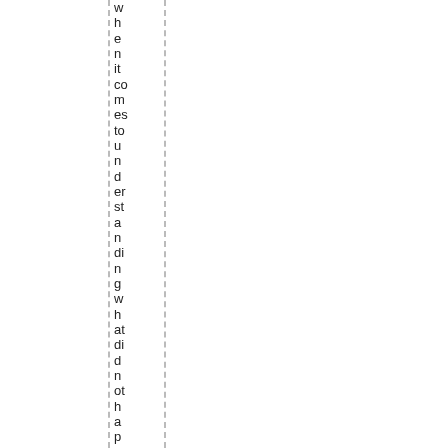when it comes to understanding what did not happ